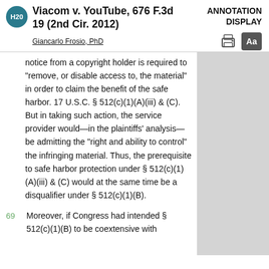Viacom v. YouTube, 676 F.3d 19 (2nd Cir. 2012)
ANNOTATION DISPLAY
Giancarlo Frosio, PhD
notice from a copyright holder is required to "remove, or disable access to, the material" in order to claim the benefit of the safe harbor. 17 U.S.C. § 512(c)(1)(A)(iii) & (C). But in taking such action, the service provider would—in the plaintiffs' analysis—be admitting the "right and ability to control" the infringing material. Thus, the prerequisite to safe harbor protection under § 512(c)(1)(A)(iii) & (C) would at the same time be a disqualifier under § 512(c)(1)(B).
69   Moreover, if Congress had intended § 512(c)(1)(B) to be coextensive with